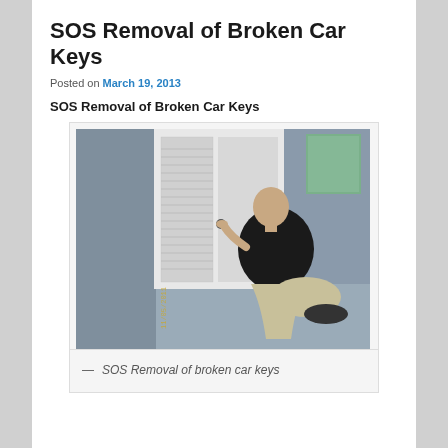SOS Removal of Broken Car Keys
Posted on March 19, 2013
SOS Removal of Broken Car Keys
[Figure (photo): A man in a black shirt and khaki pants kneeling and working on a door lock/keyhole, with a white door featuring venetian blind-style glass panels in the background, set on a gray porch or entryway.]
— SOS Removal of broken car keys